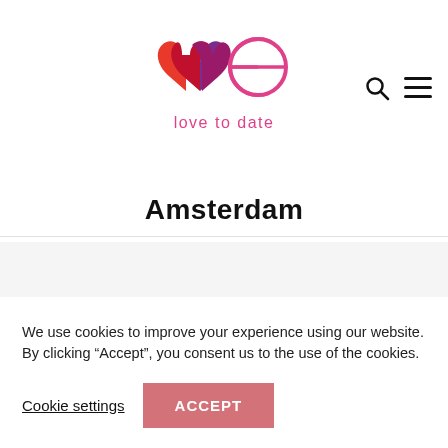[Figure (logo): WE love to date logo — two overlapping hearts in red and purple with a pink 'e' and text 'love to date' in pink below]
Amsterdam
RECENT POSTS
We use cookies to improve your experience using our website. By clicking “Accept”, you consent us to the use of the cookies.
Cookie settings
ACCEPT